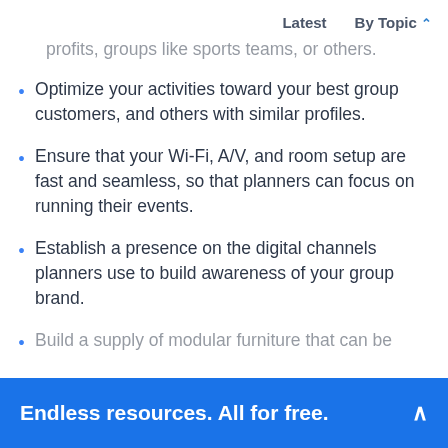Latest   By Topic ∨
independent event planners, associations, non-profits, groups like sports teams, or others.
Optimize your activities toward your best group customers, and others with similar profiles.
Ensure that your Wi-Fi, A/V, and room setup are fast and seamless, so that planners can focus on running their events.
Establish a presence on the digital channels planners use to build awareness of your group brand.
Build a supply of modular furniture that can be
Endless resources. All for free.